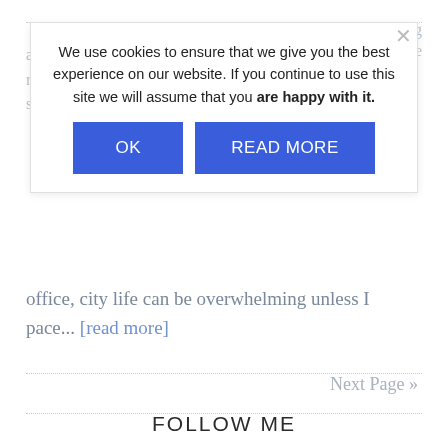[Figure (screenshot): Cookie consent popup overlay on a webpage with 'OK' and 'READ MORE' blue buttons, and a close X button. Behind the overlay is greyed-out body text about watching people and absorbing an atmosphere, with a 'Next Page »' link and 'FOLLOW ME' section header.]
We use cookies to ensure that we give you the best experience on our website. If you continue to use this site we will assume that you are happy with it.
office, city life can be overwhelming unless I pace... [read more]
Next Page »
FOLLOW ME